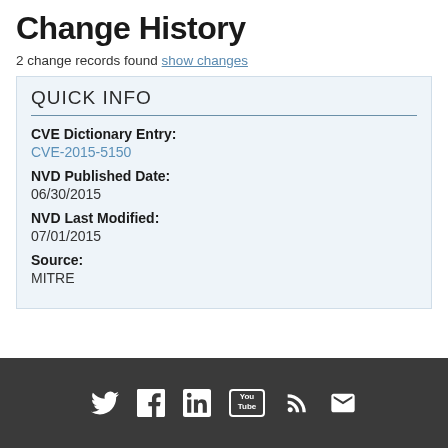Change History
2 change records found show changes
QUICK INFO
CVE Dictionary Entry:
CVE-2015-5150
NVD Published Date:
06/30/2015
NVD Last Modified:
07/01/2015
Source:
MITRE
Social media icons: Twitter, Facebook, LinkedIn, YouTube, RSS, Email